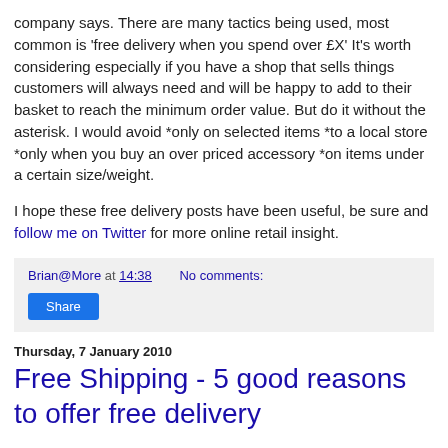company says. There are many tactics being used, most common is 'free delivery when you spend over £X' It's worth considering especially if you have a shop that sells things customers will always need and will be happy to add to their basket to reach the minimum order value. But do it without the asterisk. I would avoid *only on selected items *to a local store *only when you buy an over priced accessory *on items under a certain size/weight.

I hope these free delivery posts have been useful, be sure and follow me on Twitter for more online retail insight.
Brian@More at 14:38   No comments:   Share
Thursday, 7 January 2010
Free Shipping - 5 good reasons to offer free delivery